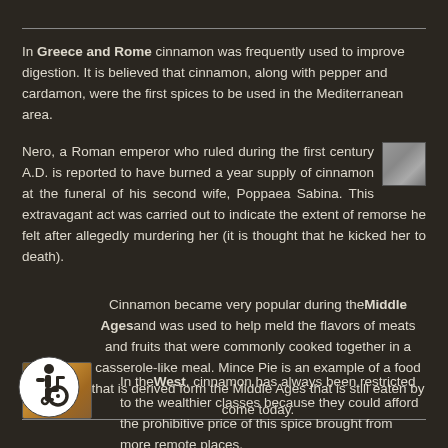In Greece and Rome cinnamon was frequently used to improve digestion. It is believed that cinnamon, along with pepper and cardamon, were the first spices to be used in the Mediterranean area.
Nero, a Roman emperor who ruled during the first century A.D. is reported to have burned a year supply of cinnamon at the funeral of his second wife, Poppaea Sabina. This extravagant act was carried out to indicate the extent of remorse he felt after allegedly murdering her (it is thought that he kicked her to death).
Cinnamon became very popular during the Middle Ages and was used to help meld the flavors of meats and fruits that were commonly cooked together in a casserole-like meal. Mince Pie is an example of a food that is derived form the Middle Ages that is still eaten by come today.
[Figure (photo): Small thumbnail photo of Nero, Roman emperor, grayscale portrait]
[Figure (photo): Small thumbnail photo of Mince Pies on a plate]
In the West, cinnamon has always been restricted to the wealthier classes because they could afford the prohibitive price of this spice brought from more remote places.
[Figure (illustration): Accessibility wheelchair icon in a white circle on dark background]